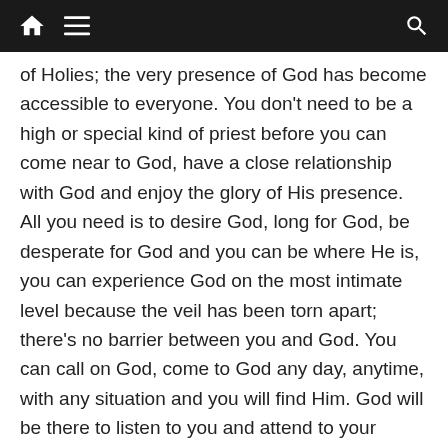[navigation bar with home, menu, and search icons]
of Holies; the very presence of God has become accessible to everyone. You don't need to be a high or special kind of priest before you can come near to God, have a close relationship with God and enjoy the glory of His presence. All you need is to desire God, long for God, be desperate for God and you can be where He is, you can experience God on the most intimate level because the veil has been torn apart; there's no barrier between you and God. You can call on God, come to God any day, anytime, with any situation and you will find Him. God will be there to listen to you and attend to your need. No wonder in Hebrews 4: 16, we are encouraged to approach the throne of grace with confidence even though we are not high priests, pastors of mega churches, or people without any flaws, imperfections and mistakes. The confidence we have in entering into the presence of God is based on the One